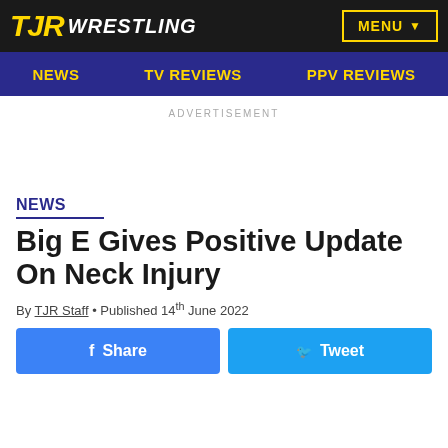TJR WRESTLING — MENU
NEWS  TV REVIEWS  PPV REVIEWS
ADVERTISEMENT
NEWS
Big E Gives Positive Update On Neck Injury
By TJR Staff • Published 14th June 2022
Share  Tweet